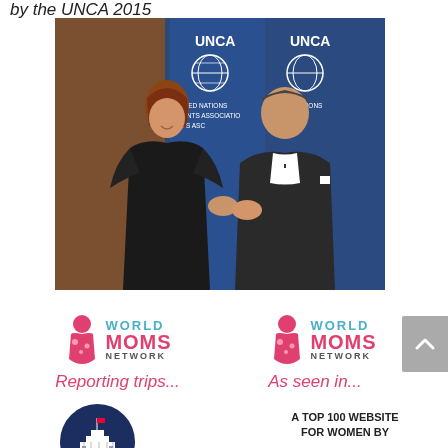by the UNCA 2015
[Figure (photo): Two people shaking hands at a UNCA (United Nations Correspondents Association) event. A woman in a black dress on the left and an older man in a tuxedo on the right, in front of UNCA backdrop banners.]
[Figure (logo): World Moms Network logo with figure icon]
Reporting trips...
[Figure (logo): World Moms Network logo with figure icon (second instance)]
As seen in...
[Figure (illustration): White House circular badge/seal in navy blue]
A TOP 100 WEBSITE FOR WOMEN BY